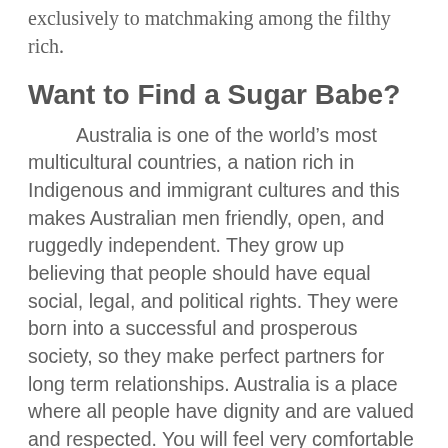exclusively to matchmaking among the filthy rich.
Want to Find a Sugar Babe?
Australia is one of the world's most multicultural countries, a nation rich in Indigenous and immigrant cultures and this makes Australian men friendly, open, and ruggedly independent. They grow up believing that people should have equal social, legal, and political rights. They were born into a successful and prosperous society, so they make perfect partners for long term relationships. Australia is a place where all people have dignity and are valued and respected. You will feel very comfortable dating an Australian man because most people here think of themselves as your equal, regardless of your occupation or your income. The companionship of marriage is more important than personal freedom to many Australian men, and